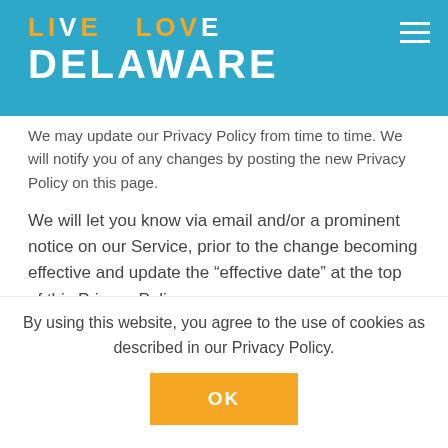LIVE LOVE DELAWARE
We may update our Privacy Policy from time to time. We will notify you of any changes by posting the new Privacy Policy on this page.
We will let you know via email and/or a prominent notice on our Service, prior to the change becoming effective and update the “effective date” at the top of this Privacy Policy.
You are advised to review this Privacy Policy periodically for any changes. Changes to this Privacy Policy are effective when they are posted on this
By using this website, you agree to the use of cookies as described in our Privacy Policy.
OK